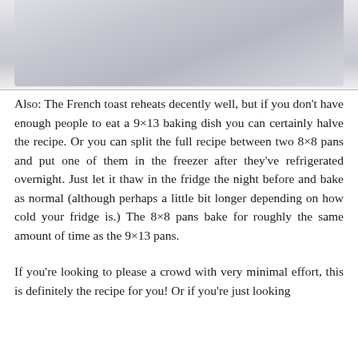[Figure (photo): Top portion of a white ceramic dish or bowl against a light grey background]
Also: The French toast reheats decently well, but if you don't have enough people to eat a 9×13 baking dish you can certainly halve the recipe. Or you can split the full recipe between two 8×8 pans and put one of them in the freezer after they've refrigerated overnight. Just let it thaw in the fridge the night before and bake as normal (although perhaps a little bit longer depending on how cold your fridge is.) The 8×8 pans bake for roughly the same amount of time as the 9×13 pans.
If you're looking to please a crowd with very minimal effort, this is definitely the recipe for you! Or if you're just looking